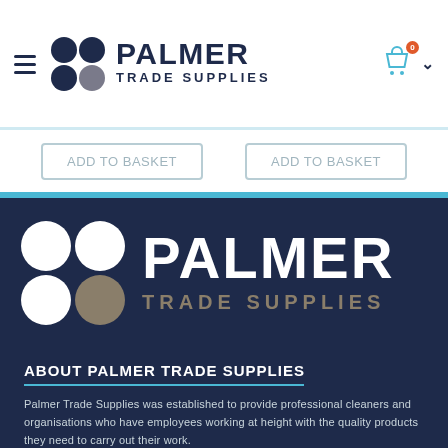[Figure (logo): Palmer Trade Supplies logo in navigation bar — four dots (dark blue and grey) with PALMER in dark blue bold and TRADE SUPPLIES below]
[Figure (logo): Palmer Trade Supplies large white logo on dark navy background — four circles (white and grey/tan) with PALMER in white bold and TRADE SUPPLIES in tan/gold]
ABOUT PALMER TRADE SUPPLIES
Palmer Trade Supplies was established to provide professional cleaners and organisations who have employees working at height with the quality products they need to carry out their work.